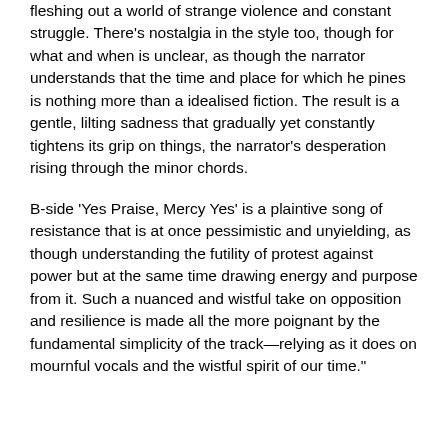fleshing out a world of strange violence and constant struggle. There's nostalgia in the style too, though for what and when is unclear, as though the narrator understands that the time and place for which he pines is nothing more than a idealised fiction. The result is a gentle, lilting sadness that gradually yet constantly tightens its grip on things, the narrator's desperation rising through the minor chords.
B-side 'Yes Praise, Mercy Yes' is a plaintive song of resistance that is at once pessimistic and unyielding, as though understanding the futility of protest against power but at the same time drawing energy and purpose from it. Such a nuanced and wistful take on opposition and resilience is made all the more poignant by the fundamental simplicity of the track—relying as it does on mournful vocals and the wistful spirit of our time."